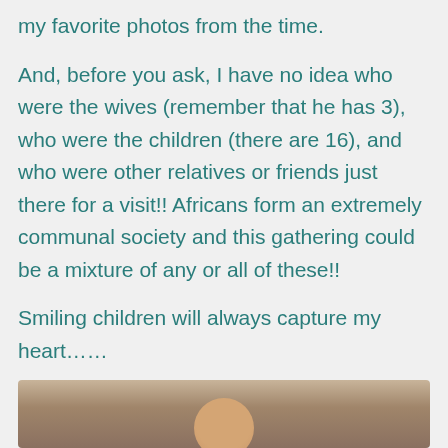my favorite photos from the time.
And, before you ask, I have no idea who were the wives (remember that he has 3), who were the children (there are 16), and who were other relatives or friends just there for a visit!! Africans form an extremely communal society and this gathering could be a mixture of any or all of these!!
Smiling children will always capture my heart……
[Figure (photo): Bottom portion of a photograph showing what appears to be a person, partially visible at the bottom of the page]